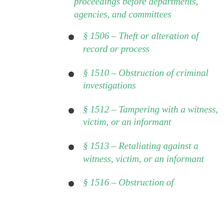proceedings before departments, agencies, and committees
§ 1506 – Theft or alteration of record or process
§ 1510 – Obstruction of criminal investigations
§ 1512 – Tampering with a witness, victim, or an informant
§ 1513 – Retaliating against a witness, victim, or an informant
§ 1516 – Obstruction of federal audits